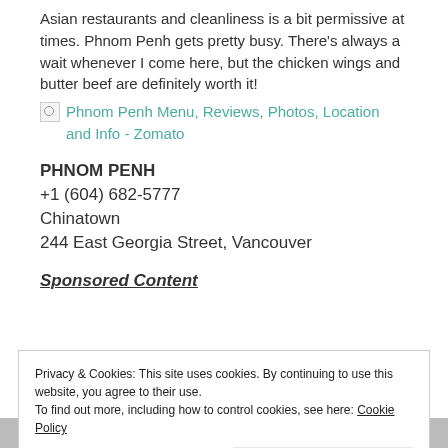Asian restaurants and cleanliness is a bit permissive at times. Phnom Penh gets pretty busy. There's always a wait whenever I come here, but the chicken wings and butter beef are definitely worth it!
Phnom Penh Menu, Reviews, Photos, Location and Info - Zomato
PHNOM PENH
+1 (604) 682-5777
Chinatown
244 East Georgia Street, Vancouver
Sponsored Content
Privacy & Cookies: This site uses cookies. By continuing to use this website, you agree to their use.
To find out more, including how to control cookies, see here: Cookie Policy
Close and accept